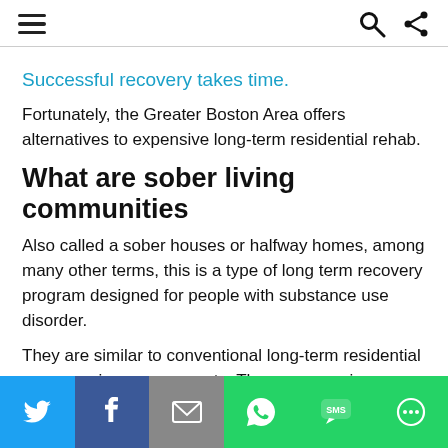≡  🔍  ⋲
Successful recovery takes time.
Fortunately, the Greater Boston Area offers alternatives to expensive long-term residential rehab.
What are sober living communities
Also called a sober houses or halfway homes, among many other terms, this is a type of long term recovery program designed for people with substance use disorder.
They are similar to conventional long-term residential programs in many respects. They may require participants to stay in a facility for the